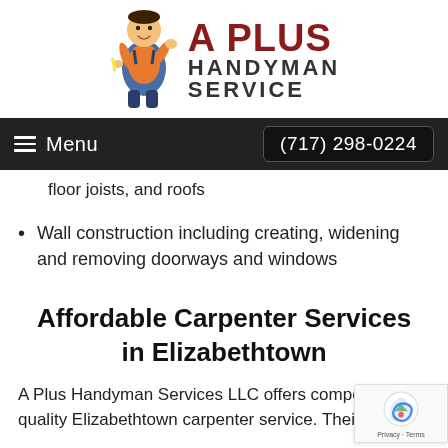[Figure (logo): A Plus Handyman Service logo with cartoon handyman figure and bold red/dark text]
Menu | (717) 298-0224
floor joists, and roofs
Wall construction including creating, widening and removing doorways and windows
Affordable Carpenter Services in Elizabethtown
A Plus Handyman Services LLC offers competitive for quality Elizabethtown carpenter service. Their